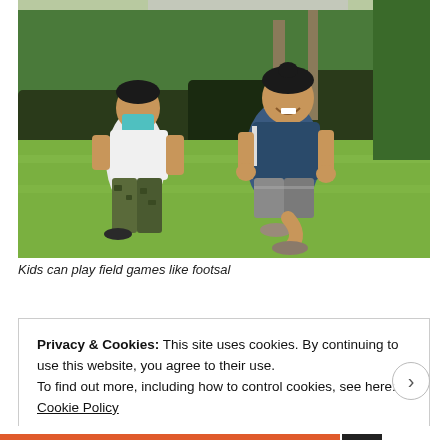[Figure (photo): Two boys playing on a grass field outdoors. The boy on the left wears a white t-shirt, camouflage pants, and a blue face mask. The boy on the right wears a navy blue t-shirt and gray shorts, laughing. Green trees and shrubs are visible in the background.]
Kids can play field games like footsal
Privacy & Cookies: This site uses cookies. By continuing to use this website, you agree to their use.
To find out more, including how to control cookies, see here: Cookie Policy